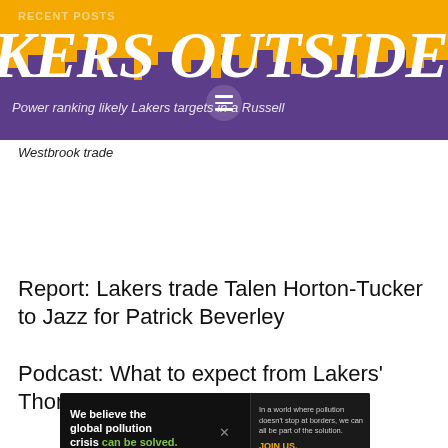RECENT POSTS
[Figure (logo): Lakers Outside - website logo banner with gold background, purple city skyline silhouette, and large italic white serif text reading 'KERS OUTSIDE' (partial, cropped). A hamburger menu icon is visible in the center.]
Power ranking likely Lakers targets in a Russell Westbrook trade
Report: Lakers trade Talen Horton-Tucker to Jazz for Patrick Beverley
Podcast: What to expect from Lakers' Thomas Bryant
[Figure (infographic): Pure Earth advertisement banner: black background with text 'We believe the global pollution crisis can be solved.' on left, 'In a world where pollution doesn't stop at borders, we can all be part of the solution. JOIN US.' in center, and Pure Earth logo (diamond/layered chevron icon in gold/green) with PURE EARTH text on right.]